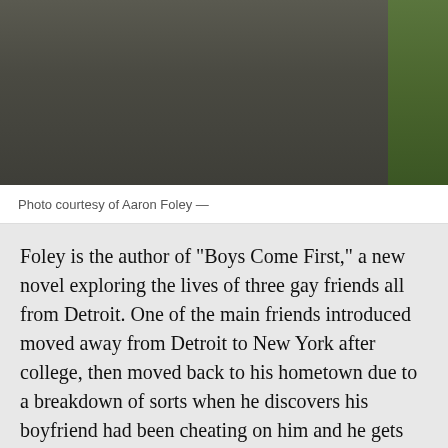[Figure (photo): Partial photo of a person wearing a dark olive/grey t-shirt, with green foliage visible on the right side.]
Photo courtesy of Aaron Foley —
Foley is the author of "Boys Come First," a new novel exploring the lives of three gay friends all from Detroit. One of the main friends introduced moved away from Detroit to New York after college, then moved back to his hometown due to a breakdown of sorts when he discovers his boyfriend had been cheating on him and he gets laid off from his job in a short span of time. He returns home to get his life back together and finds himself becoming closer with his group of friends in Detroit.